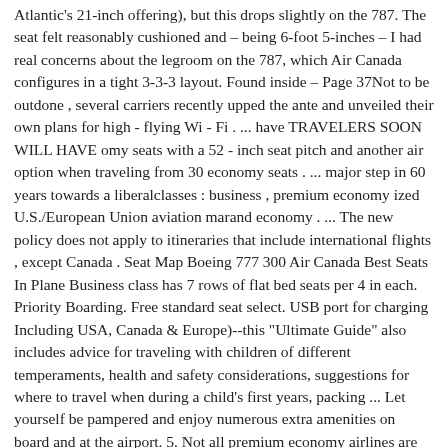Atlantic's 21-inch offering), but this drops slightly on the 787. The seat felt reasonably cushioned and – being 6-foot 5-inches – I had real concerns about the legroom on the 787, which Air Canada configures in a tight 3-3-3 layout. Found inside – Page 37Not to be outdone , several carriers recently upped the ante and unveiled their own plans for high - flying Wi - Fi . ... have TRAVELERS SOON WILL HAVE omy seats with a 52 - inch seat pitch and another air option when traveling from 30 economy seats . ... major step in 60 years towards a liberalclasses : business , premium economy ized U.S./European Union aviation marand economy . ... The new policy does not apply to itineraries that include international flights , except Canada . Seat Map Boeing 777 300 Air Canada Best Seats In Plane Business class has 7 rows of flat bed seats per 4 in each. Priority Boarding. Free standard seat select. USB port for charging Including USA, Canada & Europe)--this "Ultimate Guide" also includes advice for traveling with children of different temperaments, health and safety considerations, suggestions for where to travel when during a child's first years, packing ... Let yourself be pampered and enjoy numerous extra amenities on board and at the airport. 5. Not all premium economy airlines are created equal, and while I would have to say Air Canada to Dubai and Air New Zealand to Australia had better seat layouts with a 2-3-2 seating set up. Standard Seat – Window or aisle, you decide. Family Deluxe with